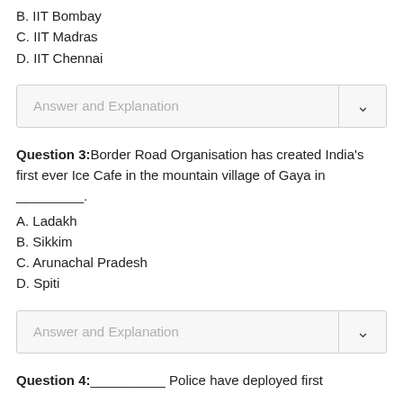B. IIT Bombay
C. IIT Madras
D. IIT Chennai
Answer and Explanation
Question 3: Border Road Organisation has created India's first ever Ice Cafe in the mountain village of Gaya in _________.
A. Ladakh
B. Sikkim
C. Arunachal Pradesh
D. Spiti
Answer and Explanation
Question 4: __________ Police have deployed first